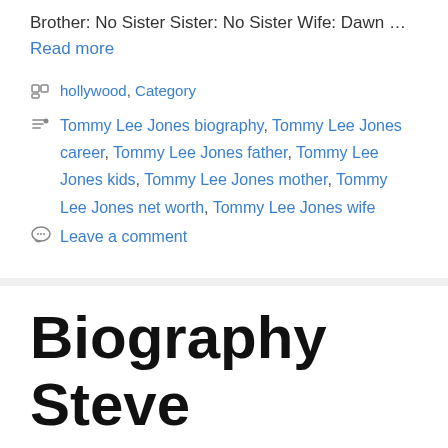Brother: No Sister Sister: No Sister Wife: Dawn … Read more
Categories: hollywood, Category
Tags: Tommy Lee Jones biography, Tommy Lee Jones career, Tommy Lee Jones father, Tommy Lee Jones kids, Tommy Lee Jones mother, Tommy Lee Jones net worth, Tommy Lee Jones wife
Leave a comment
Biography Steve Carell wife, kids, Net